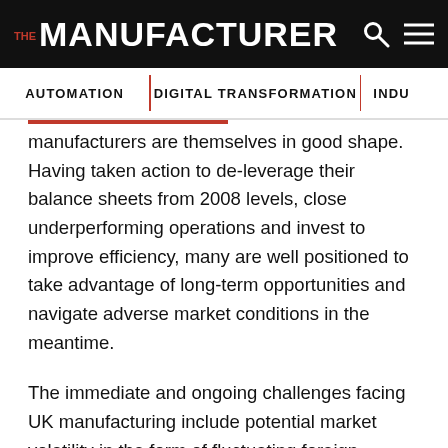THE MANUFACTURER
AUTOMATION | DIGITAL TRANSFORMATION | INDU
manufacturers are themselves in good shape. Having taken action to de-leverage their balance sheets from 2008 levels, close underperforming operations and invest to improve efficiency, many are well positioned to take advantage of long-term opportunities and navigate adverse market conditions in the meantime.
The immediate and ongoing challenges facing UK manufacturing include potential market volatility in the form of fluctuating foreign exchange rates and commodity prices. Oil prices, still $30 a barrel higher than a year ago, remain keenly watched. Hedging and risk management are quite rightly priorities which we have been looking